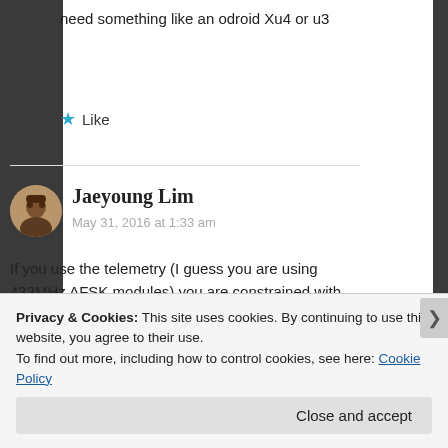need something like an odroid Xu4 or u3
★ Like
Jaeyoung Lim
May 31, 2016 at 1:33 am
If you use the telemetry (I guess you are using 433MHz AFSK modules) you are constrained with slow baudrates(~57600)
Privacy & Cookies: This site uses cookies. By continuing to use this website, you agree to their use.
To find out more, including how to control cookies, see here: Cookie Policy
Close and accept